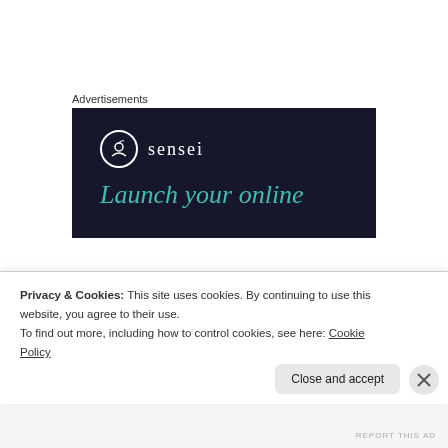Advertisements
[Figure (illustration): Sensei brand advertisement banner with dark navy background, circular logo icon, brand name 'sensei', and teal italic text 'Launch your online']
In exchange for that complexity, he has a wife that can be soft and kind and caring, as well as bold and fierce and demanding.
Privacy & Cookies: This site uses cookies. By continuing to use this website, you agree to their use.
To find out more, including how to control cookies, see here: Cookie Policy
Close and accept